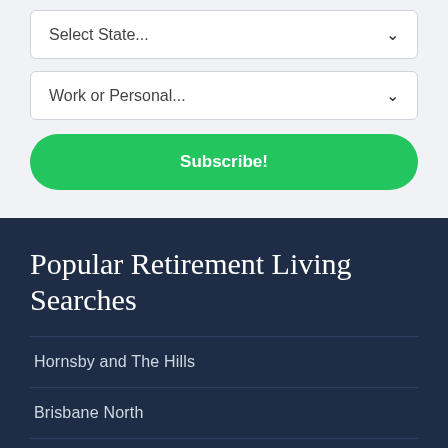Select State...
Work or Personal...
Subscribe!
Popular Retirement Living Searches
Hornsby and The Hills
Brisbane North
Bellarine Peninsula